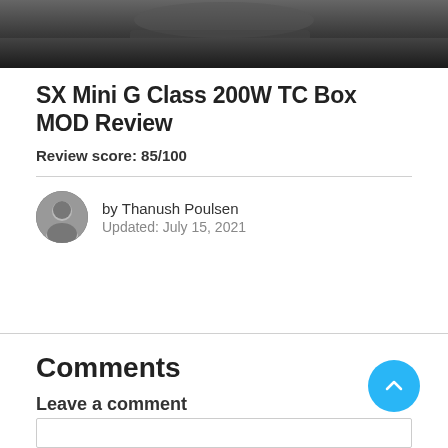[Figure (photo): Dark hero image at top of article, appears to be a partial view of a dark-colored device or product]
SX Mini G Class 200W TC Box MOD Review
Review score: 85/100
by Thanush Poulsen
Updated: July 15, 2021
Comments
Leave a comment